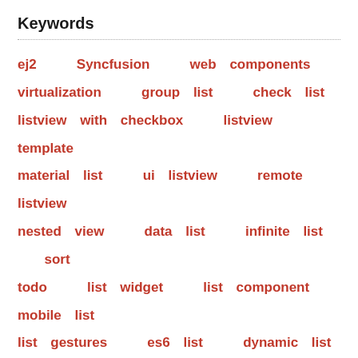Keywords
ej2   Syncfusion   web components   virtualization   group list   check list   listview with checkbox   listview template   material list   ui listview   remote listview   nested view   data list   infinite list   sort   todo   list widget   list component   mobile list   list gestures   es6 list   dynamic list   vue lists   list plugin   vuejs   vue component   ej2 vue lists